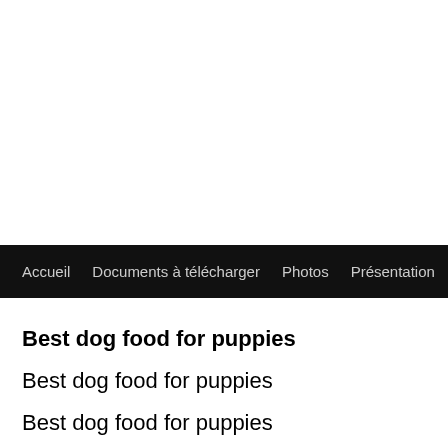Accueil   Documents à télécharger   Photos   Présentation   Prog
Best dog food for puppies
Best dog food for puppies
Best dog food for puppies